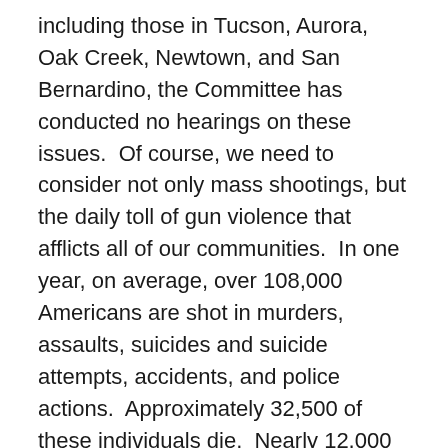including those in Tucson, Aurora, Oak Creek, Newtown, and San Bernardino, the Committee has conducted no hearings on these issues.  Of course, we need to consider not only mass shootings, but the daily toll of gun violence that afflicts all of our communities.  In one year, on average, over 108,000 Americans are shot in murders, assaults, suicides and suicide attempts, accidents, and police actions.  Approximately 32,500 of these individuals die.  Nearly 12,000 are murdered-more than 31 Americans every day.[4]  This is unacceptable and we must do more to examine the issue of gun violence in order to develop solutions to make us all safer.
Most of us are on record supporting a number of bills designed to reduce gun violence because it is clear that